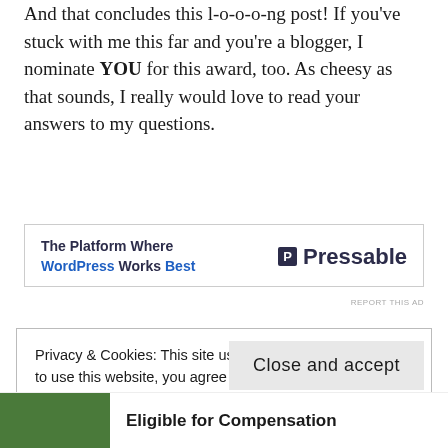And that concludes this l-o-o-o-ng post! If you've stuck with me this far and you're a blogger, I nominate YOU for this award, too. As cheesy as that sounds, I really would love to read your answers to my questions.
[Figure (other): Advertisement banner for Pressable: 'The Platform Where WordPress Works Best' with Pressable logo]
REPORT THIS AD
Privacy & Cookies: This site uses cookies. By continuing to use this website, you agree to their use.
To find out more, including how to control cookies, see here: Cookie Policy
Close and accept
Eligible for Compensation